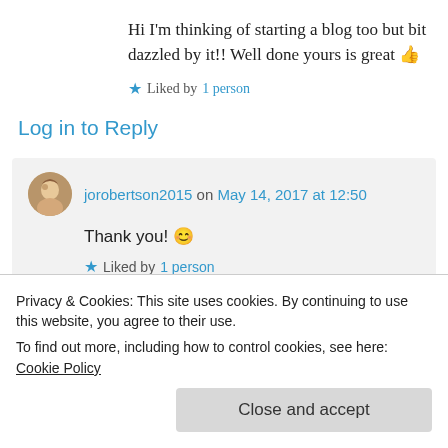Hi I'm thinking of starting a blog too but bit dazzled by it!! Well done yours is great 👍
★ Liked by 1 person
Log in to Reply
jorobertson2015 on May 14, 2017 at 12:50
Thank you! 😊
★ Liked by 1 person
Privacy & Cookies: This site uses cookies. By continuing to use this website, you agree to their use.
To find out more, including how to control cookies, see here: Cookie Policy
Close and accept